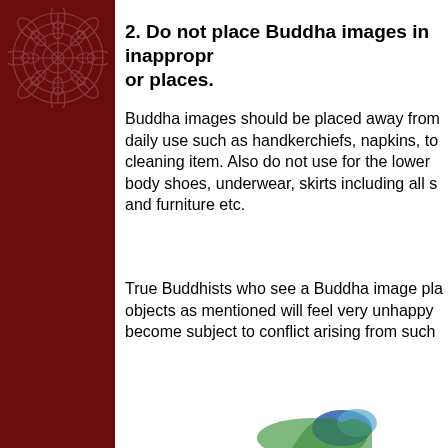[Figure (illustration): Dark maroon vertical sidebar with a faded mandala/lotus watermark pattern in the upper portion]
2. Do not place Buddha images in inappropriate or places.
Buddha images should be placed away from daily use such as handkerchiefs, napkins, to cleaning item. Also do not use for the lower body shoes, underwear, skirts including all s and furniture etc.
True Buddhists who see a Buddha image pla objects as mentioned will feel very unhappy become subject to conflict arising from such
[Figure (illustration): Partial illustration visible at the bottom right of the page, appears to show colorful objects or figurines]